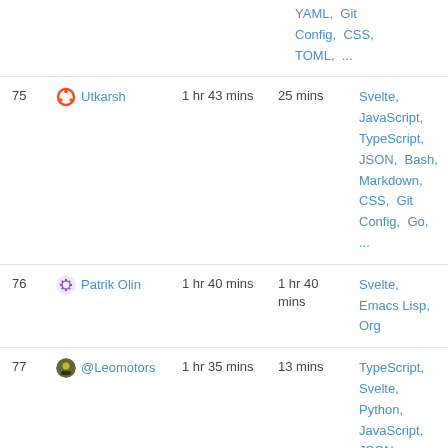| # | User | Total | Today | Languages |
| --- | --- | --- | --- | --- |
|  |  |  |  | YAML,  Git Config,  CSS, TOML,  ... |
| 75 | Utkarsh | 1 hr 43 mins | 25 mins | Svelte,  JavaScript,  TypeScript,  JSON,  Bash,  Markdown,  CSS,  Git Config,  Go,  ... |
| 76 | Patrik Olin | 1 hr 40 mins | 1 hr 40 mins | Svelte,  Emacs Lisp,  Org |
| 77 | @Leomotors | 1 hr 35 mins | 13 mins | TypeScript,  Svelte,  Python,  JavaScript,  JSON,  Markdown,  HTML,  C,  YAML,  ... |